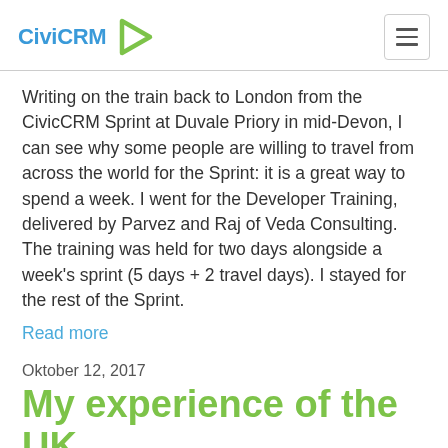CiviCRM
Writing on the train back to London from the CivicCRM Sprint at Duvale Priory in mid-Devon, I can see why some people are willing to travel from across the world for the Sprint: it is a great way to spend a week. I went for the Developer Training, delivered by Parvez and Raj of Veda Consulting. The training was held for two days alongside a week's sprint (5 days + 2 travel days). I stayed for the rest of the Sprint.
Read more
Oktober 12, 2017
My experience of the UK